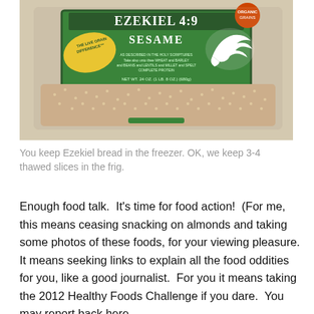[Figure (photo): A packaged loaf of Ezekiel 4:9 Sesame bread by Food for Life, showing the green labeled bread package with a dove logo and 'The Live Grain Difference' badge, sitting on a table.]
You keep Ezekiel bread in the freezer. OK, we keep 3-4 thawed slices in the frig.
Enough food talk.  It's time for food action!  (For me, this means ceasing snacking on almonds and taking some photos of these foods, for your viewing pleasure. It means seeking links to explain all the food oddities for you, like a good journalist.  For you it means taking the 2012 Healthy Foods Challenge if you dare.  You may report back here or challenge food connect in 2012.  Do it — we dare you.